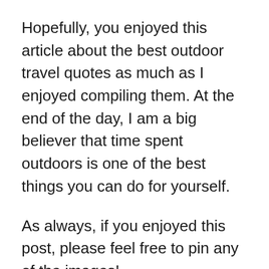Hopefully, you enjoyed this article about the best outdoor travel quotes as much as I enjoyed compiling them. At the end of the day, I am a big believer that time spent outdoors is one of the best things you can do for yourself.
As always, if you enjoyed this post, please feel free to pin any of the images!
If you’re looking for more inspiration, check out our list of other quotes.